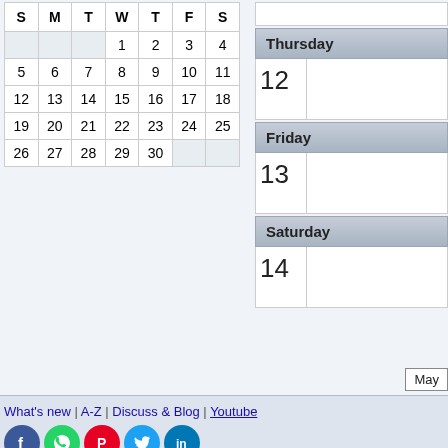| S | M | T | W | T | F | S |
| --- | --- | --- | --- | --- | --- | --- |
|  |  |  | 1 | 2 | 3 | 4 |
| 5 | 6 | 7 | 8 | 9 | 10 | 11 |
| 12 | 13 | 14 | 15 | 16 | 17 | 18 |
| 19 | 20 | 21 | 22 | 23 | 24 | 25 |
| 26 | 27 | 28 | 29 | 30 |  |  |
Thursday
12
Friday
13
Saturday
14
May
What's new | A-Z | Discuss & Blog | Youtube
[Figure (infographic): Social media share icons: Facebook (blue), WhatsApp (green), Pinterest (red), Twitter (blue), LinkedIn (blue)]
Share & Email